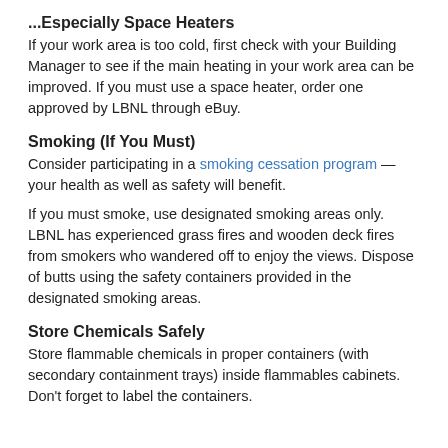...Especially Space Heaters
If your work area is too cold, first check with your Building Manager to see if the main heating in your work area can be improved. If you must use a space heater, order one approved by LBNL through eBuy.
Smoking (If You Must)
Consider participating in a smoking cessation program — your health as well as safety will benefit.
If you must smoke, use designated smoking areas only. LBNL has experienced grass fires and wooden deck fires from smokers who wandered off to enjoy the views. Dispose of butts using the safety containers provided in the designated smoking areas.
Store Chemicals Safely
Store flammable chemicals in proper containers (with secondary containment trays) inside flammables cabinets. Don't forget to label the containers.